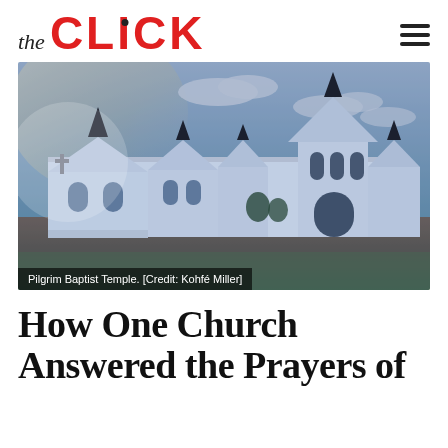the CLICK
[Figure (photo): Exterior photograph of Pilgrim Baptist Temple, a large white church building with multiple peaked roofs and black spires, against a blue sky with clouds. Foreground shows a dirt/grass area.]
Pilgrim Baptist Temple. [Credit: Kohfé Miller]
How One Church Answered the Prayers of